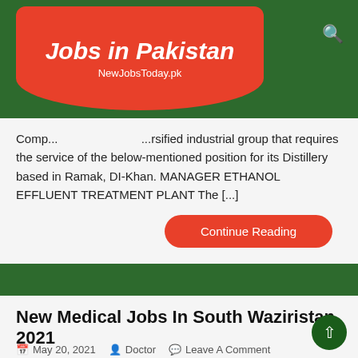Jobs in Pakistan — NewJobsToday.pk
Comp... ...rsified industrial group that requires the service of the below-mentioned position for its Distillery based in Ramak, DI-Khan. MANAGER ETHANOL EFFLUENT TREATMENT PLANT The [...]
Continue Reading
New Medical Jobs In South Waziristan 2021
May 20, 2021   Doctor   Leave A Comment
Latest Medical Jobs In Waziristan & Dera Ismail Khan Hospital